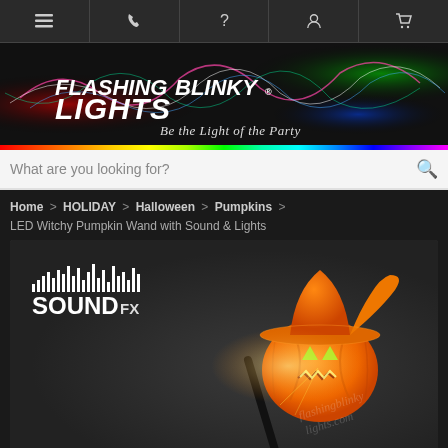Navigation bar with menu, phone, help, account, cart icons
[Figure (logo): Flashing Blinky Lights logo with colorful light wave effects on dark background. Tagline: Be the Light of the Party]
What are you looking for?
Home > HOLIDAY > Halloween > Pumpkins >
LED Witchy Pumpkin Wand with Sound & Lights
[Figure (photo): Product image of LED Witchy Pumpkin Wand with Sound & Lights. Shows an orange jack-o-lantern pumpkin with witch hat on a black wand, glowing with light. SoundFX logo with sound wave bars visible in upper left. Watermark text 'flashingblinkylights.com' at bottom right.]